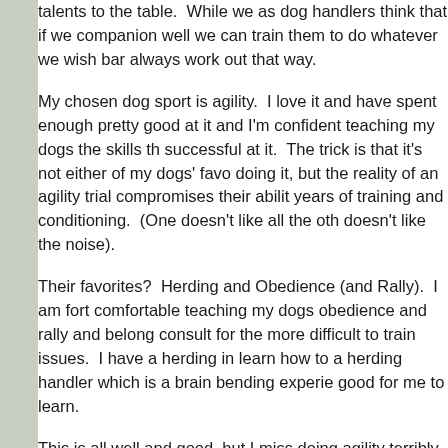talents to the table.  While we as dog handlers think that if we companion well we can train them to do whatever we wish bar always work out that way.
My chosen dog sport is agility.  I love it and have spent enough pretty good at it and I'm confident teaching my dogs the skills th successful at it.  The trick is that it's not either of my dogs' favo doing it, but the reality of an agility trial compromises their abilit years of training and conditioning.  (One doesn't like all the oth doesn't like the noise).
Their favorites?  Herding and Obedience (and Rally).  I am fort comfortable teaching my dogs obedience and rally and belong consult for the more difficult to train issues.  I have a herding in learn how to a herding handler which is a brain bending experie good for me to learn.
This is all well and good, but I miss doing agility terribly.  One d and compete from time to time, but things are not looking good which is terribly disappointing.  I feel like the parent who has as that their child doesn't share.